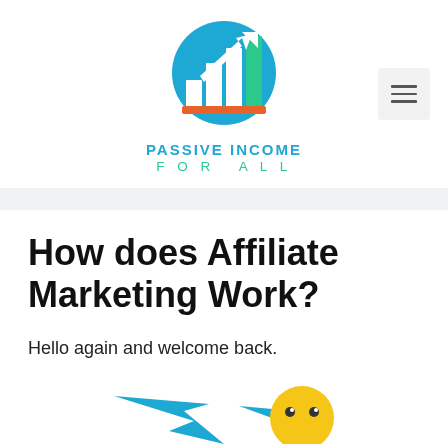[Figure (logo): Passive Income For All logo: blue circle with white bar chart and upward arrow graphic, orange base accent, with text PASSIVE INCOME FOR ALL below]
How does Affiliate Marketing Work?
Hello again and welcome back.
[Figure (illustration): Partial illustration at bottom of page showing a blue arrow and a yellow emoji-style face with eyes]